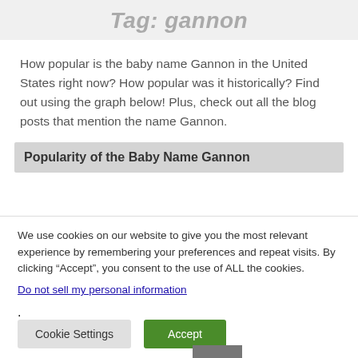Tag: gannon
How popular is the baby name Gannon in the United States right now? How popular was it historically? Find out using the graph below! Plus, check out all the blog posts that mention the name Gannon.
Popularity of the Baby Name Gannon
We use cookies on our website to give you the most relevant experience by remembering your preferences and repeat visits. By clicking “Accept”, you consent to the use of ALL the cookies.
Do not sell my personal information.
Cookie Settings   Accept